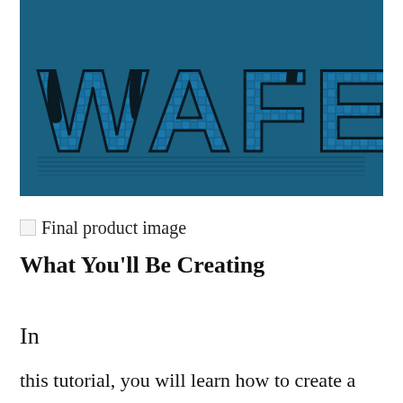[Figure (illustration): Dark teal/blue background with stylized text 'WAFER' rendered with a wafer/cookie texture and dark chocolate drip effect on the letters.]
Final product image
What You’ll Be Creating
In
this tutorial, you will learn how to create a